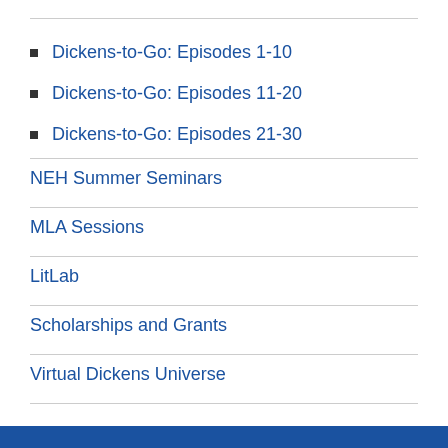Dickens-to-Go: Episodes 1-10
Dickens-to-Go: Episodes 11-20
Dickens-to-Go: Episodes 21-30
NEH Summer Seminars
MLA Sessions
LitLab
Scholarships and Grants
Virtual Dickens Universe